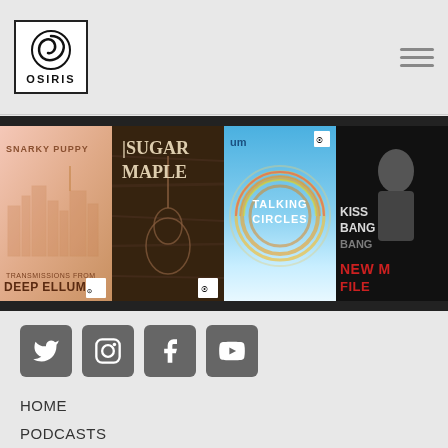[Figure (logo): OSIRIS logo with spiral design in a square box]
[Figure (illustration): Hamburger menu icon (three horizontal lines)]
[Figure (illustration): Album covers carousel: Snarky Puppy - Transmissions From Deep Ellum; Sugar Maple; Talking Circles (um); Kiss Bang Bang - New M File]
[Figure (infographic): Social media icons: Twitter, Instagram, Facebook, YouTube]
HOME
PODCASTS
NEWS
VIDEOS